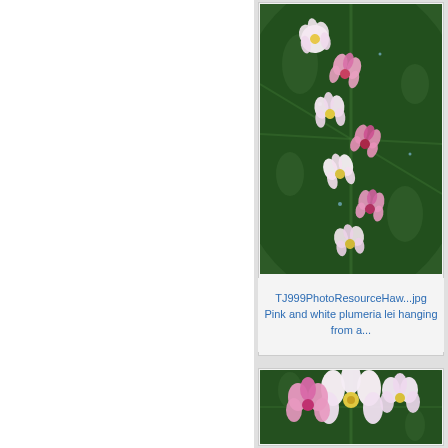[Figure (photo): Pink and white plumeria lei arranged on large dark green monstera/tropical leaves with water droplets]
TJ999PhotoResourceHaw...jpg
Pink and white plumeria lei hanging from a...
[Figure (photo): Close-up of pink and white plumeria flowers on tropical green leaves]